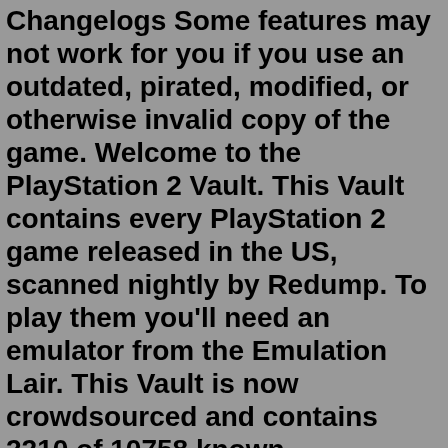Changelogs Some features may not work for you if you use an outdated, pirated, modified, or otherwise invalid copy of the game. Welcome to the PlayStation 2 Vault. This Vault contains every PlayStation 2 game released in the US, scanned nightly by Redump. To play them you'll need an emulator from the Emulation Lair. This Vault is now crowdsourced and contains 2210 of 10758 known PlayStation 2 discs, catalogued by Redump on July 18, 2022. If you have a clean Redump copy of a disc that's missing, please upload it!This Monster Hunter: World mod replaces Purgation's Atrocity with the Ashbringer (or the Corrupted Ashbringer) from World of Warcraft. Baseball Bat Hammer Mod [Mod] Posted over 3 years ago; 8 downloads; Batter up! This Monster Hunter: World mod replaces a hammer of your choice with a baseball bat.En Pivigames esta todo sobre videojuegos desde contenido descargable, noticias ofertas y promociones y sobre todo juegos que regalan.Jan 14, 2022 · 1) Double check that your system can run the game; compare your hardware with the game's PC